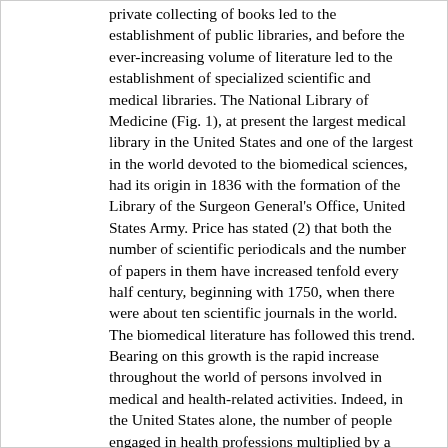private collecting of books led to the establishment of public libraries, and before the ever-increasing volume of literature led to the establishment of specialized scientific and medical libraries. The National Library of Medicine (Fig. 1), at present the largest medical library in the United States and one of the largest in the world devoted to the biomedical sciences, had its origin in 1836 with the formation of the Library of the Surgeon General's Office, United States Army. Price has stated (2) that both the number of scientific periodicals and the number of papers in them have increased tenfold every half century, beginning with 1750, when there were about ten scientific journals in the world. The biomedical literature has followed this trend. Bearing on this growth is the rapid increase throughout the world of persons involved in medical and health-related activities. Indeed, in the United States alone, the number of people engaged in health professions multiplied by a factor of 5.8 between 1900 and 1960 (3), while the total population multiplied by a factor of only 2.4(4). The phenomenal increase in the volume of biomedical literature and in the